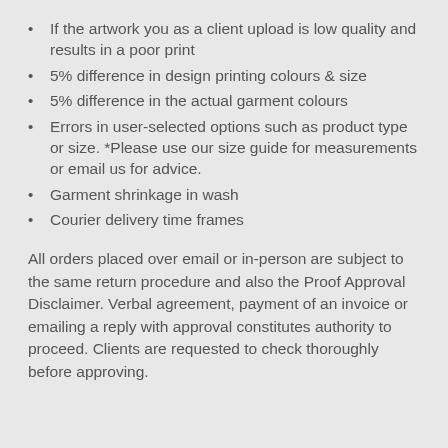If the artwork you as a client upload is low quality and results in a poor print
5% difference in design printing colours & size
5% difference in the actual garment colours
Errors in user-selected options such as product type or size. *Please use our size guide for measurements or email us for advice.
Garment shrinkage in wash
Courier delivery time frames
All orders placed over email or in-person are subject to the same return procedure and also the Proof Approval Disclaimer. Verbal agreement, payment of an invoice or emailing a reply with approval constitutes authority to proceed. Clients are requested to check thoroughly before approving.